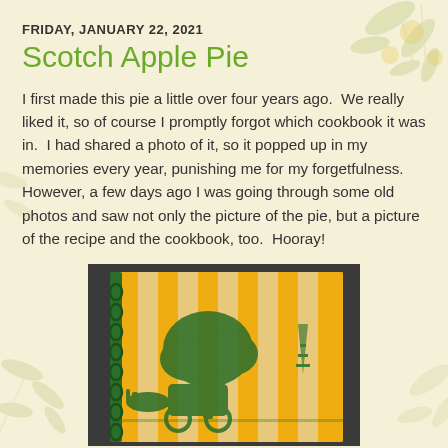FRIDAY, JANUARY 22, 2021
Scotch Apple Pie
I first made this pie a little over four years ago.  We really liked it, so of course I promptly forgot which cookbook it was in.  I had shared a photo of it, so it popped up in my memories every year, punishing me for my forgetfulness.  However, a few days ago I was going through some old photos and saw not only the picture of the pie, but a picture of the recipe and the cookbook, too.  Hooray!
[Figure (photo): Photo of a vintage spiral-bound cookbook with yellow and cream vertical stripes on the cover, featuring a green illustration of a horse-drawn carriage under a large tree with an oil derrick in the background.]